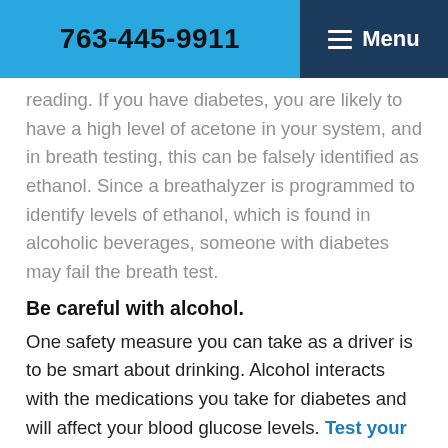763-445-9911 | Menu
reading. If you have diabetes, you are likely to have a high level of acetone in your system, and in breath testing, this can be falsely identified as ethanol. Since a breathalyzer is programmed to identify levels of ethanol, which is found in alcoholic beverages, someone with diabetes may fail the breath test.
Be careful with alcohol.
One safety measure you can take as a driver is to be smart about drinking. Alcohol interacts with the medications you take for diabetes and will affect your blood glucose levels. Test your blood sugar level before drinking an alcoholic beverage; if it is low, introducing alcohol into your system could lead to